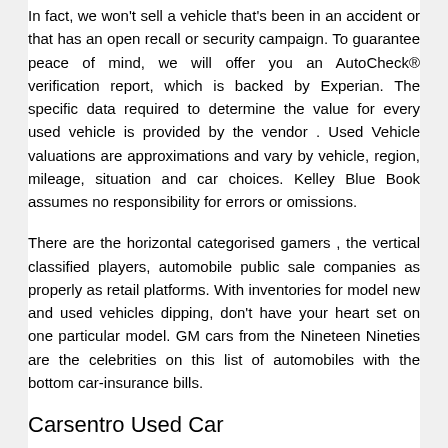In fact, we won't sell a vehicle that's been in an accident or that has an open recall or security campaign. To guarantee peace of mind, we will offer you an AutoCheck® verification report, which is backed by Experian. The specific data required to determine the value for every used vehicle is provided by the vendor . Used Vehicle valuations are approximations and vary by vehicle, region, mileage, situation and car choices. Kelley Blue Book assumes no responsibility for errors or omissions.
There are the horizontal categorised gamers , the vertical classified players, automobile public sale companies as properly as retail platforms. With inventories for model new and used vehicles dipping, don't have your heart set on one particular model. GM cars from the Nineteen Nineties are the celebrities on this list of automobiles with the bottom car-insurance bills.
Carsentro Used Car
Children are safer when properly secured in a rear seat in the appropriate baby restraint. The Manufacturer's